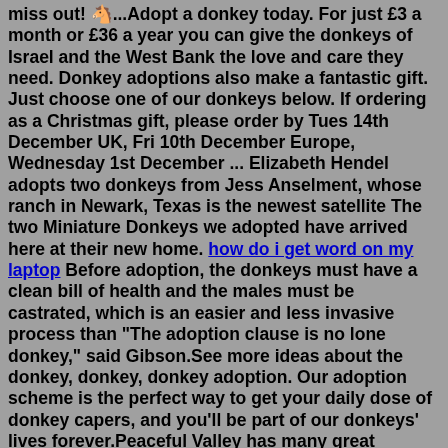miss out! 🐴...Adopt a donkey today. For just £3 a month or £36 a year you can give the donkeys of Israel and the West Bank the love and care they need. Donkey adoptions also make a fantastic gift. Just choose one of our donkeys below. If ordering as a Christmas gift, please order by Tues 14th December UK, Fri 10th December Europe, Wednesday 1st December ... Elizabeth Hendel adopts two donkeys from Jess Anselment, whose ranch in Newark, Texas is the newest satellite The two Miniature Donkeys we adopted have arrived here at their new home. how do i get word on my laptop Before adoption, the donkeys must have a clean bill of health and the males must be castrated, which is an easier and less invasive process than "The adoption clause is no lone donkey," said Gibson.See more ideas about the donkey, donkey, donkey adoption. Our adoption scheme is the perfect way to get your daily dose of donkey capers, and you'll be part of our donkeys' lives forever.Peaceful Valley has many great donkeys available for adoption throughout the United States. In order for a donkey